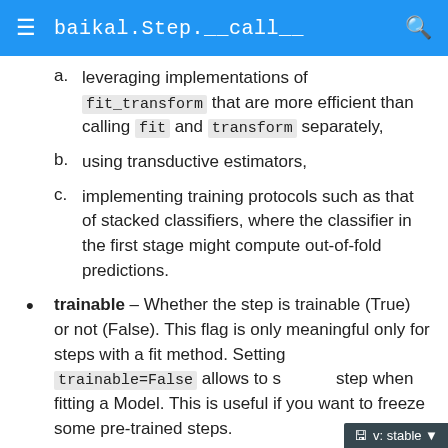baikal.Step.__call__
a. leveraging implementations of fit_transform that are more efficient than calling fit and transform separately,
b. using transductive estimators,
c. implementing training protocols such as that of stacked classifiers, where the classifier in the first stage might compute out-of-fold predictions.
trainable – Whether the step is trainable (True) or not (False). This flag is only meaningful only for steps with a fit method. Setting trainable=False allows to skip the step when fitting a Model. This is useful if you want to freeze some pre-trained steps.